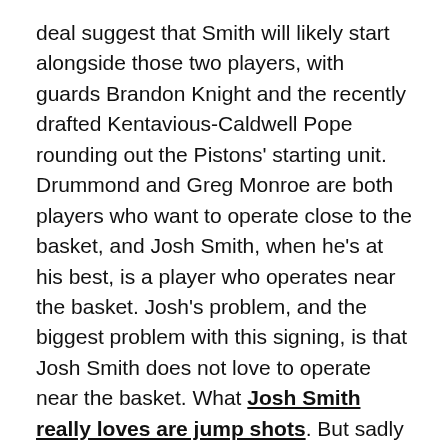deal suggest that Smith will likely start alongside those two players, with guards Brandon Knight and the recently drafted Kentavious-Caldwell Pope rounding out the Pistons' starting unit. Drummond and Greg Monroe are both players who want to operate close to the basket, and Josh Smith, when he's at his best, is a player who operates near the basket. Josh's problem, and the biggest problem with this signing, is that Josh Smith does not love to operate near the basket. What Josh Smith really loves are jump shots. But sadly for Josh, jump shots do not love him back. Josh fancies himself more of a swing man than his size and skill-set would suggest is wise.
Unfortunately for the Pistons, and fans who would like to see J-Smoove reach his peak effectiveness, playing Smith alongside Monroe and Drummond will do nothing to dissuade him from floating more and more around the perimeter, likely tempting him to take more and more of